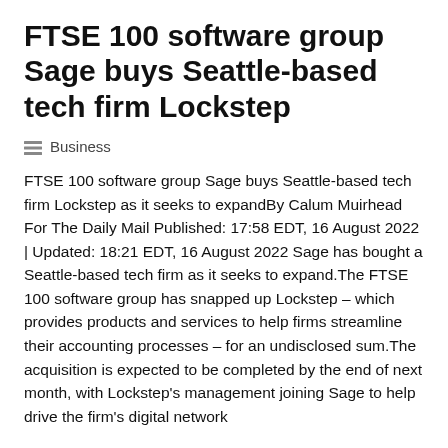FTSE 100 software group Sage buys Seattle-based tech firm Lockstep
Business
FTSE 100 software group Sage buys Seattle-based tech firm Lockstep as it seeks to expandBy Calum Muirhead For The Daily Mail Published: 17:58 EDT, 16 August 2022 | Updated: 18:21 EDT, 16 August 2022 Sage has bought a Seattle-based tech firm as it seeks to expand.The FTSE 100 software group has snapped up Lockstep – which provides products and services to help firms streamline their accounting processes – for an undisclosed sum.The acquisition is expected to be completed by the end of next month, with Lockstep's management joining Sage to help drive the firm's digital network